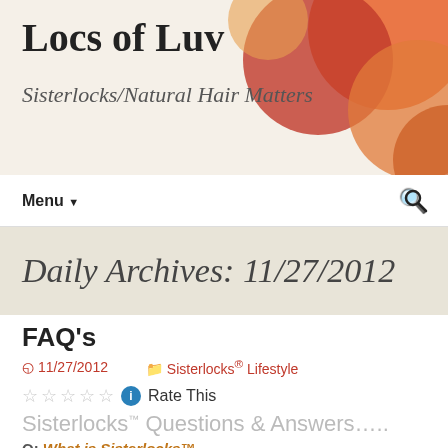Locs of Luv
Sisterlocks/Natural Hair Matters
Menu
Daily Archives: 11/27/2012
FAQ's
11/27/2012   Sisterlocks® Lifestyle
Rate This
Sisterlocks™ Questions & Answers…..
Q: What is Sisterlocks™